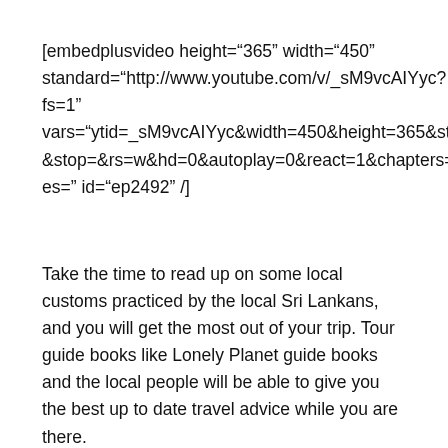[embedplusvideo height="365" width="450" standard="http://www.youtube.com/v/_sM9vcAIYyc?fs=1" vars="ytid=_sM9vcAIYyc&width=450&height=365&start=&stop=&rs=w&hd=0&autoplay=0&react=1&chapters=&notes=" id="ep2492" /]
Take the time to read up on some local customs practiced by the local Sri Lankans, and you will get the most out of your trip. Tour guide books like Lonely Planet guide books and the local people will be able to give you the best up to date travel advice while you are there.